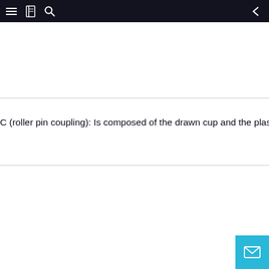[Figure (screenshot): Dark navigation bar with hamburger menu, book icon, search icon on left, and back arrow on right]
C (roller pin coupling): Is composed of the drawn cup and the plastic retainer; The re